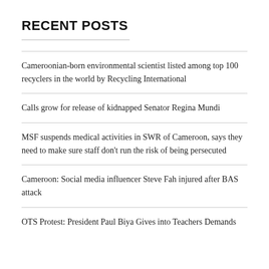RECENT POSTS
Cameroonian-born environmental scientist listed among top 100 recyclers in the world by Recycling International
Calls grow for release of kidnapped Senator Regina Mundi
MSF suspends medical activities in SWR of Cameroon, says they need to make sure staff don’t run the risk of being persecuted
Cameroon: Social media influencer Steve Fah injured after BAS attack
OTS Protest: President Paul Biya Gives into Teachers Demands